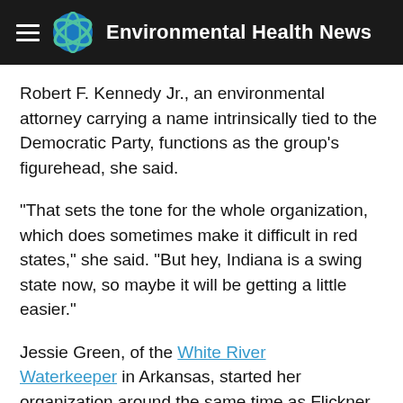Environmental Health News
Robert F. Kennedy Jr., an environmental attorney carrying a name intrinsically tied to the Democratic Party, functions as the group's figurehead, she said.
"That sets the tone for the whole organization, which does sometimes make it difficult in red states," she said. "But hey, Indiana is a swing state now, so maybe it will be getting a little easier."
Jessie Green, of the White River Waterkeeper in Arkansas, started her organization around the same time as Flickner, and they often commiserate about their struggles. She said she's doing better than she was two years ago, having recruited